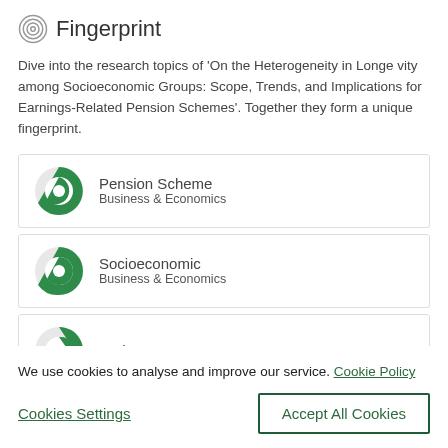Fingerprint
Dive into the research topics of 'On the Heterogeneity in Longevity among Socioeconomic Groups: Scope, Trends, and Implications for Earnings-Related Pension Schemes'. Together they form a unique fingerprint.
Pension Scheme — Business & Economics
Socioeconomic — Business & Economics
Retirement Income
We use cookies to analyse and improve our service. Cookie Policy
Cookies Settings
Accept All Cookies